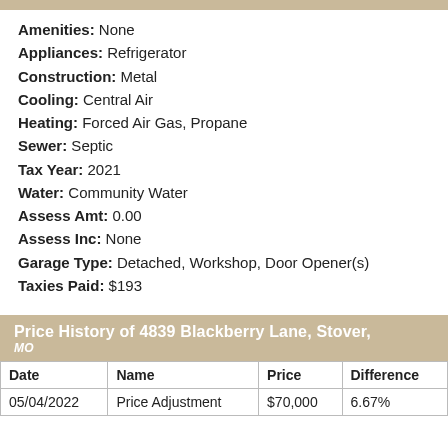Amenities: None
Appliances: Refrigerator
Construction: Metal
Cooling: Central Air
Heating: Forced Air Gas, Propane
Sewer: Septic
Tax Year: 2021
Water: Community Water
Assess Amt: 0.00
Assess Inc: None
Garage Type: Detached, Workshop, Door Opener(s)
Taxies Paid: $193
Price History of 4839 Blackberry Lane, Stover, MO
| Date | Name | Price | Difference |
| --- | --- | --- | --- |
| 05/04/2022 | Price Adjustment | $70,000 | 6.67% |